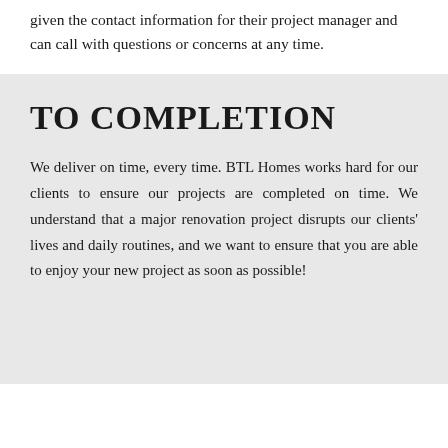given the contact information for their project manager and can call with questions or concerns at any time.
TO COMPLETION
We deliver on time, every time. BTL Homes works hard for our clients to ensure our projects are completed on time. We understand that a major renovation project disrupts our clients' lives and daily routines, and we want to ensure that you are able to enjoy your new project as soon as possible!